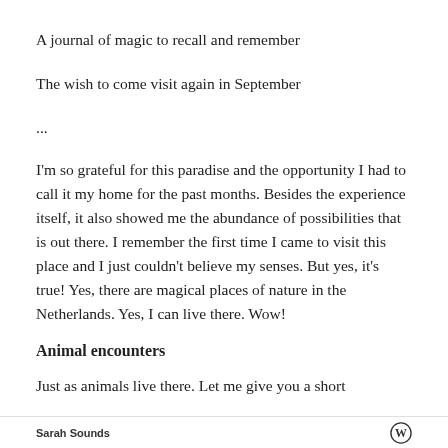A journal of magic to recall and remember
The wish to come visit again in September
...
I'm so grateful for this paradise and the opportunity I had to call it my home for the past months. Besides the experience itself, it also showed me the abundance of possibilities that is out there. I remember the first time I came to visit this place and I just couldn't believe my senses. But yes, it's true! Yes, there are magical places of nature in the Netherlands. Yes, I can live there. Wow!
Animal encounters
Just as animals live there. Let me give you a short
Sarah Sounds